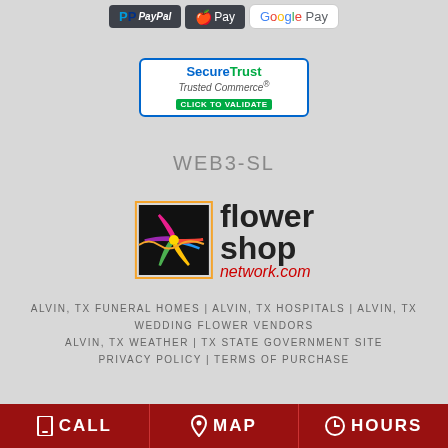[Figure (logo): Payment logos: PayPal, Apple Pay, Google Pay]
[Figure (logo): SecureTrust Trusted Commerce badge with CLICK TO VALIDATE text]
WEB3-SL
[Figure (logo): Flower Shop Network logo with colorful pinwheel icon and text]
ALVIN, TX FUNERAL HOMES | ALVIN, TX HOSPITALS | ALVIN, TX
WEDDING FLOWER VENDORS
ALVIN, TX WEATHER | TX STATE GOVERNMENT SITE
PRIVACY POLICY | TERMS OF PURCHASE
CALL | MAP | HOURS